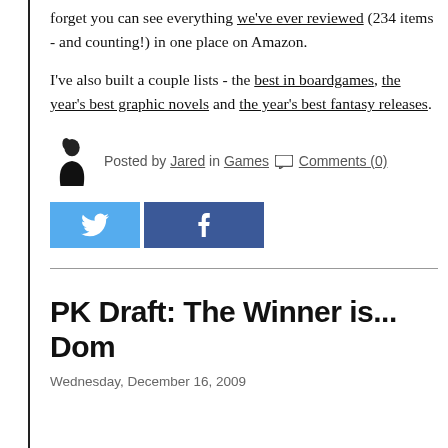forget you can see everything we've ever reviewed (234 items - and counting!) in one place on Amazon.
I've also built a couple lists - the best in boardgames, the year's best graphic novels and the year's best fantasy releases.
Posted by Jared in Games Comments (0)
[Figure (other): Twitter and Facebook social share buttons]
PK Draft: The Winner is... Dom
Wednesday, December 16, 2009